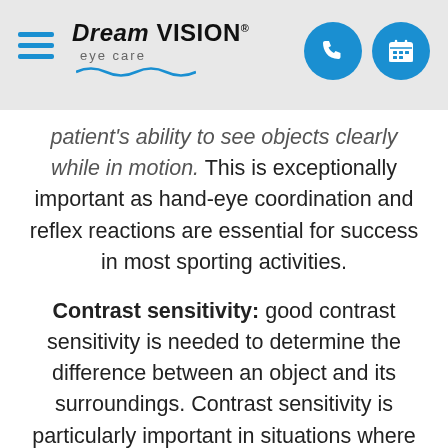Dream Vision eye care
patient's ability to see objects clearly while in motion. This is exceptionally important as hand-eye coordination and reflex reactions are essential for success in most sporting activities.
Contrast sensitivity: good contrast sensitivity is needed to determine the difference between an object and its surroundings. Contrast sensitivity is particularly important in situations where